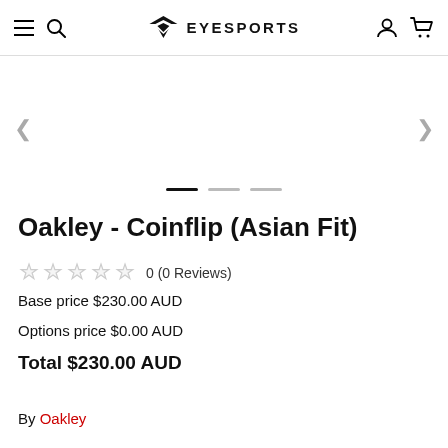EYESPORTS
[Figure (screenshot): Product image carousel area with left/right navigation arrows and three slide indicator dots]
Oakley - Coinflip (Asian Fit)
0 (0 Reviews)
Base price $230.00 AUD
Options price $0.00 AUD
Total $230.00 AUD
By Oakley